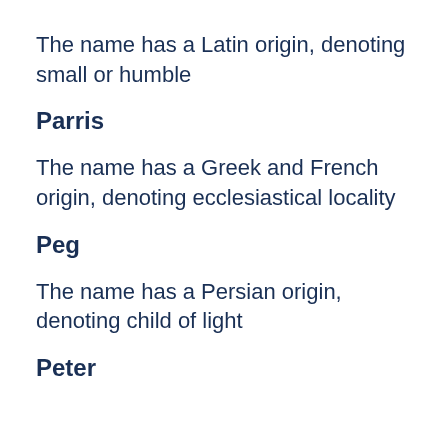The name has a Latin origin, denoting small or humble
Parris
The name has a Greek and French origin, denoting ecclesiastical locality
Peg
The name has a Persian origin, denoting child of light
Peter